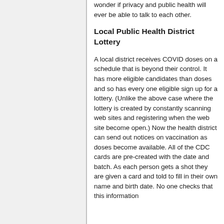wonder if privacy and public health will ever be able to talk to each other.
Local Public Health District Lottery
A local district receives COVID doses on a schedule that is beyond their control. It has more eligible candidates than doses and so has every one eligible sign up for a lottery. (Unlike the above case where the lottery is created by constantly scanning web sites and registering when the web site become open.) Now the health district can send out notices on vaccination as doses become available. All of the CDC cards are pre-created with the date and batch. As each person gets a shot they are given a card and told to fill in their own name and birth date. No one checks that this information